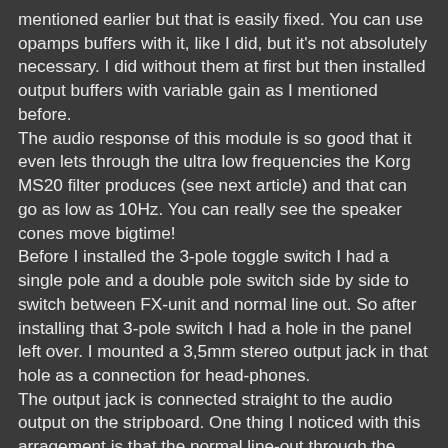mentioned earlier but that is easily fixed. You can use opamps buffers with it, like I did, but it's not absolutely necessary. I did without them at first but then installed output buffers with variable gain as I mentioned before. The audio response of this module is so good that it even lets through the ultra low frequencies the Korg MS20 filter produces (see next article) and that can go as low as 10Hz. You can really see the speaker cones move bigtime! Before I installed the 3-pole toggle switch I had a single pole and a double pole switch side by side to switch between FX-unit and normal line out. So after installing that 3-pole switch I had a hole in the panel left over. I mounted a 3,5mm stereo output jack in that hole as a connection for head-phones. The output jack is connected straight to the audio output on the stripboard. One thing I noticed with this arragement is that the normal line-out through the head-phones, sounds a lot quieter than when the effects unit is switched on. That's probably due to a difference in output impedance because we're effectively putting an 8 Ohm resistance between Line-Out and Ground in the form of the head-phone speakers. This doesn't occur when I listen to it on the normal audio amplifier, at least not if the head-phones are not plugged in.